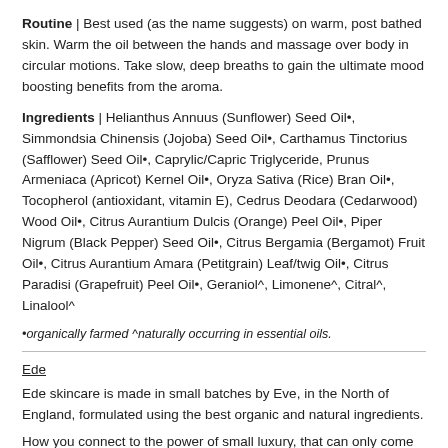Routine | Best used (as the name suggests) on warm, post bathed skin. Warm the oil between the hands and massage over body in circular motions. Take slow, deep breaths to gain the ultimate mood boosting benefits from the aroma.
Ingredients | Helianthus Annuus (Sunflower) Seed Oil•, Simmondsia Chinensis (Jojoba) Seed Oil•, Carthamus Tinctorius (Safflower) Seed Oil•, Caprylic/Capric Triglyceride, Prunus Armeniaca (Apricot) Kernel Oil•, Oryza Sativa (Rice) Bran Oil•, Tocopherol (antioxidant, vitamin E), Cedrus Deodara (Cedarwood) Wood Oil•, Citrus Aurantium Dulcis (Orange) Peel Oil•, Piper Nigrum (Black Pepper) Seed Oil•, Citrus Bergamia (Bergamot) Fruit Oil•, Citrus Aurantium Amara (Petitgrain) Leaf/twig Oil•, Citrus Paradisi (Grapefruit) Peel Oil•, Geraniol^, Limonene^, Citral^, Linalool^
•organically farmed ^naturally occurring in essential oils.
Ede
Ede skincare is made in small batches by Eve, in the North of England, formulated using the best organic and natural ingredients.
How you connect to the power of small luxury, that can only come from Ede b...